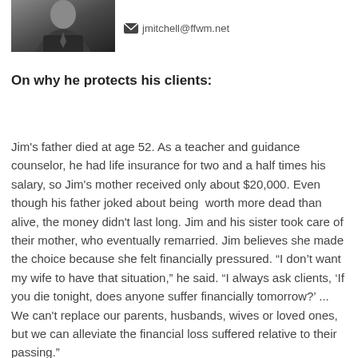[Figure (photo): Portrait photo of a man in a dark suit and tie]
jmitchell@ffwm.net
On why he protects his clients:
Jim's father died at age 52. As a teacher and guidance counselor, he had life insurance for two and a half times his salary, so Jim's mother received only about $20,000. Even though his father joked about being worth more dead than alive, the money didn't last long. Jim and his sister took care of their mother, who eventually remarried. Jim believes she made the choice because she felt financially pressured. “I don’t want my wife to have that situation,” he said. “I always ask clients, ‘If you die tonight, does anyone suffer financially tomorrow?’ ... We can't replace our parents, husbands, wives or loved ones, but we can alleviate the financial loss suffered relative to their passing.”